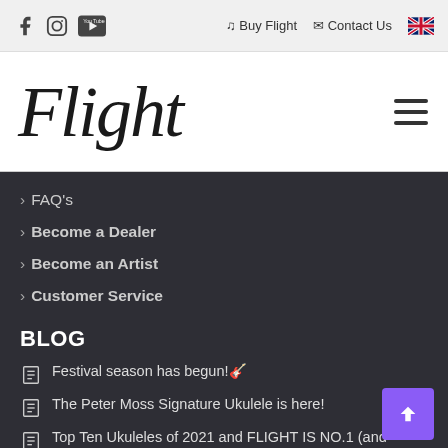Flight - Buy Flight | Contact Us
[Figure (logo): Flight brand logo in italic script font]
> FAQ's
> Become a Dealer
> Become an Artist
> Customer Service
BLOG
Festival season has begun!🎸
The Peter Moss Signature Ukulele is here!
Top Ten Ukuleles of 2021 and FLIGHT IS NO.1 (and